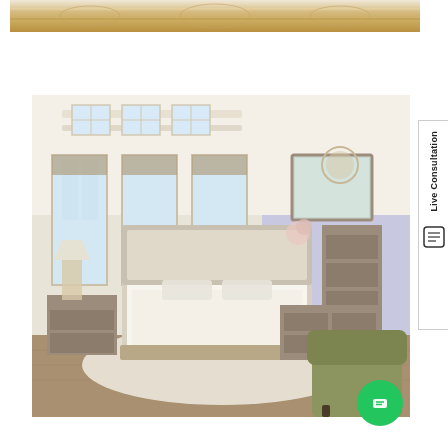[Figure (photo): Partial view of an ornate ceiling with decorative molding, cream and gold colors]
[Figure (photo): Modern bedroom furniture set in a bright room with lavender accent wall. Includes upholstered bed with taupe headboard, nightstand, tall dresser/chest, dresser with mirror. Hardwood floors, white area rug, green accent chair in foreground. Natural light from large windows.]
[Figure (infographic): Live Consultation vertical tab on right side with icon, and green chat button at bottom right]